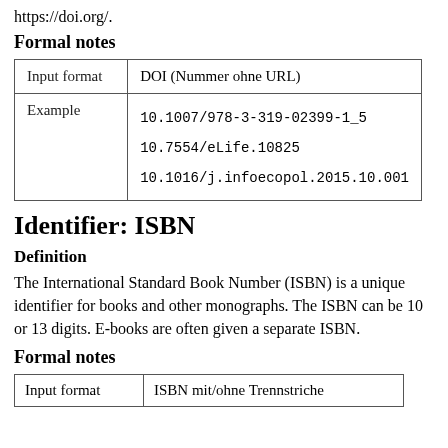https://doi.org/.
Formal notes
| Input format | DOI (Nummer ohne URL) |
| --- | --- |
| Example | 10.1007/978-3-319-02399-1_5
10.7554/eLife.10825
10.1016/j.infoecopol.2015.10.001 |
Identifier: ISBN
Definition
The International Standard Book Number (ISBN) is a unique identifier for books and other monographs. The ISBN can be 10 or 13 digits. E-books are often given a separate ISBN.
Formal notes
| Input format | ISBN mit/ohne Trennstriche |
| --- | --- |